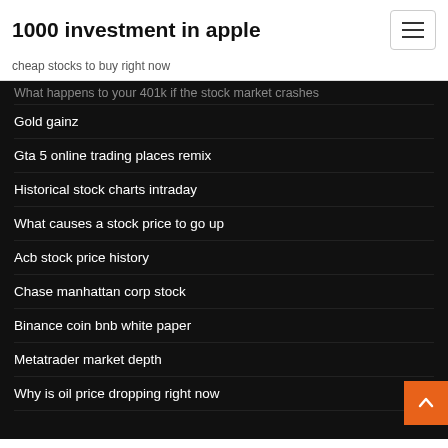1000 investment in apple
cheap stocks to buy right now
What happens to your 401k if the stock market crashes
Gold gainz
Gta 5 online trading places remix
Historical stock charts intraday
What causes a stock price to go up
Acb stock price history
Chase manhattan corp stock
Binance coin bnb white paper
Metatrader market depth
Why is oil price dropping right now